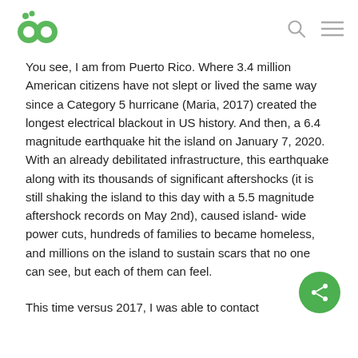OC logo, search icon, menu icon
You see, I am from Puerto Rico. Where 3.4 million American citizens have not slept or lived the same way since a Category 5 hurricane (Maria, 2017) created the longest electrical blackout in US history. And then, a 6.4 magnitude earthquake hit the island on January 7, 2020. With an already debilitated infrastructure, this earthquake along with its thousands of significant aftershocks (it is still shaking the island to this day with a 5.5 magnitude aftershock records on May 2nd), caused island- wide power cuts, hundreds of families to became homeless, and millions on the island to sustain scars that no one can see, but each of them can feel.
This time versus 2017, I was able to contact